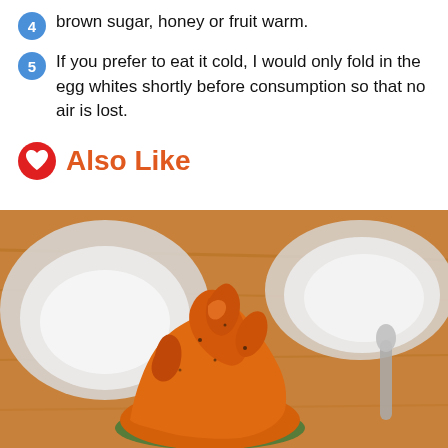brown sugar, honey or fruit warm.
5  If you prefer to eat it cold, I would only fold in the egg whites shortly before consumption so that no air is lost.
Also Like
[Figure (photo): A bowl of scrambled eggs or a mashed orange-colored food (possibly sweet potato or scrambled eggs) piled high in a small bowl with a green rim, placed on a wooden table with white plates and a spoon in the background.]